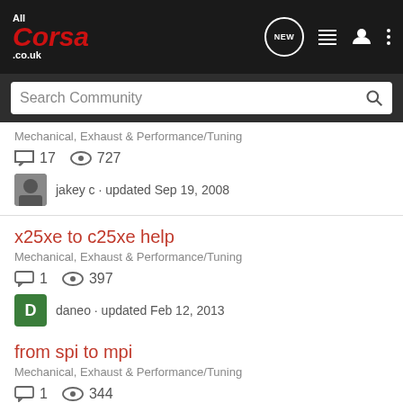AllCorsa.co.uk header with navigation icons: NEW, list, user, more
Search Community
Mechanical, Exhaust & Performance/Tuning
17 comments · 727 views · jakey c · updated Sep 19, 2008
x25xe to c25xe help
Mechanical, Exhaust & Performance/Tuning
1 comment · 397 views · daneo · updated Feb 12, 2013
from spi to mpi
Mechanical, Exhaust & Performance/Tuning
1 comment · 344 views